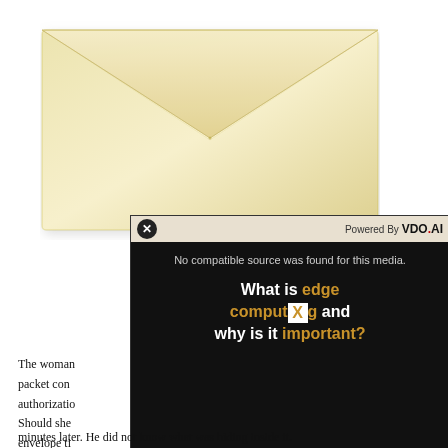[Figure (illustration): A yellowed/aged envelope shown from the back (flap side), with a triangular fold visible at the center top.]
[Figure (screenshot): A video player overlay with a dark background. Top bar shows an X close button on the left and 'Powered By VDO.AI' on the right. The player shows 'No compatible source was found for this media.' and below that text reads 'What is edge computing and why is it important?' with 'edge', 'computing' and 'important?' in gold/orange and an X watermark in the center.]
The woman packet con authorization Should she envelope ti However, sh minutes later. He did not know what was hiding inside it.